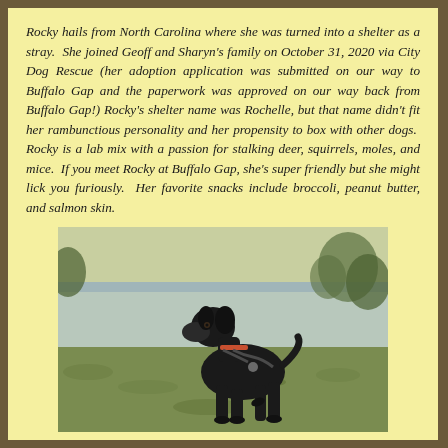Rocky hails from North Carolina where she was turned into a shelter as a stray. She joined Geoff and Sharyn's family on October 31, 2020 via City Dog Rescue (her adoption application was submitted on our way to Buffalo Gap and the paperwork was approved on our way back from Buffalo Gap!) Rocky's shelter name was Rochelle, but that name didn't fit her rambunctious personality and her propensity to box with other dogs. Rocky is a lab mix with a passion for stalking deer, squirrels, moles, and mice. If you meet Rocky at Buffalo Gap, she's super friendly but she might lick you furiously. Her favorite snacks include broccoli, peanut butter, and salmon skin.
[Figure (photo): A black Labrador mix dog wearing a harness and collar, standing on grass near a body of water, looking to the left. The background shows water and green foliage.]